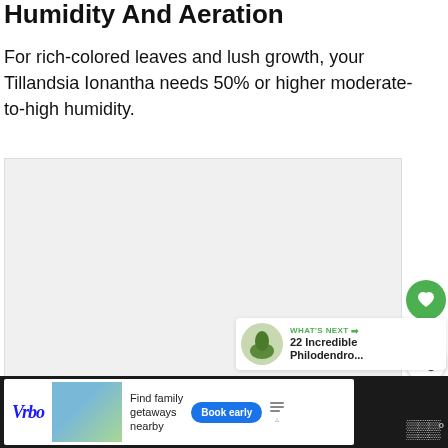Humidity And Aeration
For rich-colored leaves and lush growth, your Tillandsia Ionantha needs 50% or higher moderate-to-high humidity.
[Figure (photo): Large image placeholder for plant humidity and aeration content]
[Figure (infographic): What's Next banner: 22 Incredible Philodendro... with plant thumbnail]
[Figure (infographic): Advertisement banner: Vrbo - Find family getaways nearby, Book early button]